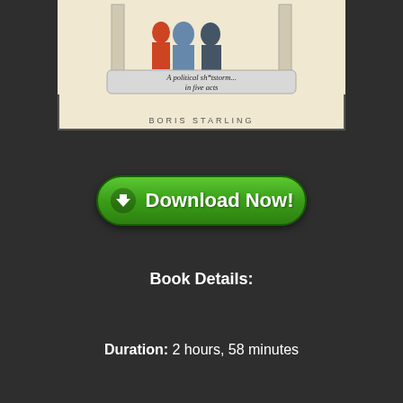[Figure (illustration): Book cover illustration showing political figures in costume with a scroll banner reading 'A political sh*tstorm... in five acts' and author name 'BORIS STARLING' at bottom]
[Figure (other): Green rounded rectangle Download Now button with white download arrow icon on the left]
Book Details:
Duration: 2 hours, 58 minutes